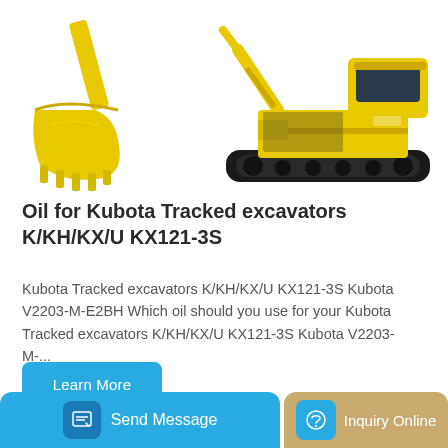[Figure (photo): Yellow excavator bucket attachment on left, yellow Kubota tracked excavator on right, white background]
Oil for Kubota Tracked excavators K/KH/KX/U KX121-3S
Kubota Tracked excavators K/KH/KX/U KX121-3S Kubota V2203-M-E2BH Which oil should you use for your Kubota Tracked excavators K/KH/KX/U KX121-3S Kubota V2203-M-...
[Figure (photo): Yellow construction machine arm/attachment, partially visible with LGONG branding]
Send Message | Inquiry Online